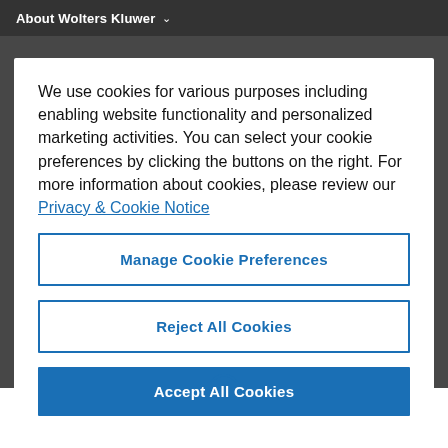About Wolters Kluwer
We use cookies for various purposes including enabling website functionality and personalized marketing activities. You can select your cookie preferences by clicking the buttons on the right. For more information about cookies, please review our Privacy & Cookie Notice
Manage Cookie Preferences
Reject All Cookies
Accept All Cookies
some level of interest in article summaries authored by